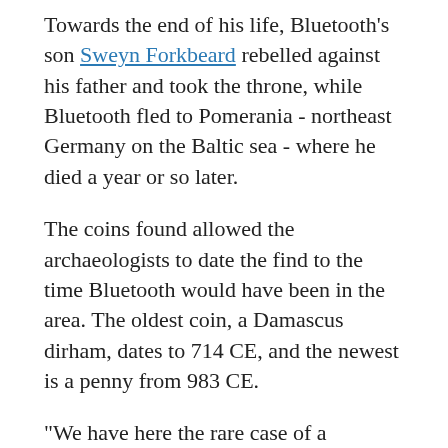Towards the end of his life, Bluetooth's son Sweyn Forkbeard rebelled against his father and took the throne, while Bluetooth fled to Pomerania - northeast Germany on the Baltic sea - where he died a year or so later.
The coins found allowed the archaeologists to date the find to the time Bluetooth would have been in the area. The oldest coin, a Damascus dirham, dates to 714 CE, and the newest is a penny from 983 CE.
"We have here the rare case of a discovery that appears to corroborate historical sources," archaeologist Detlef Jantzen told The Guardian.
Other treasures linked to the king have been found in the area, notably the spectacular [cut off]